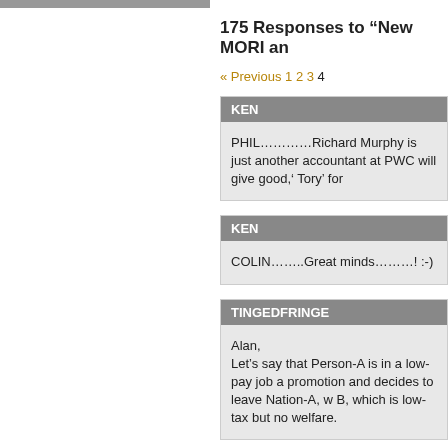175 Responses to “New MORI an
« Previous 1 2 3 4
KEN
PHIL………….Richard Murphy is just another accountant at PWC will give good,’ Tory’ for
KEN
COLIN……..Great minds………! :-)
TINGEDFRINGE
Alan,
Let’s say that Person-A is in a low-pay job a promotion and decides to leave Nation-A, w B, which is low-tax but no welfare.